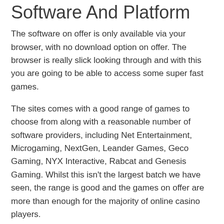Software And Platform
The software on offer is only available via your browser, with no download option on offer. The browser is really slick looking through and with this you are going to be able to access some super fast games.
The sites comes with a good range of games to choose from along with a reasonable number of software providers, including Net Entertainment, Microgaming, NextGen, Leander Games, Geco Gaming, NYX Interactive, Rabcat and Genesis Gaming. Whilst this isn't the largest batch we have seen, the range is good and the games on offer are more than enough for the majority of online casino players.
Casino Games